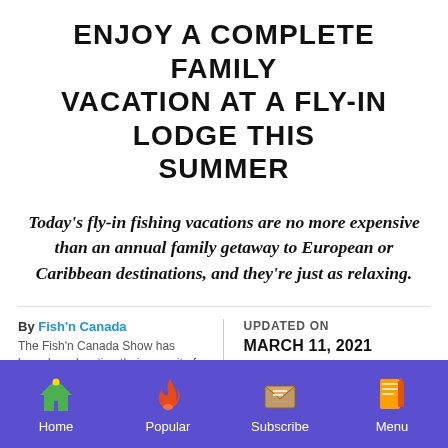ENJOY A COMPLETE FAMILY VACATION AT A FLY-IN LODGE THIS SUMMER
Today's fly-in fishing vacations are no more expensive than an annual family getaway to European or Caribbean destinations, and they're just as relaxing.
By Fish'n Canada
The Fish'n Canada Show has been broadcasting their pursuit of the ultimate adventure for over 30 years.
UPDATED ON
MARCH 11, 2021
Earlier during this season we dedicated a
Home | Popular | Subscribe | Menu